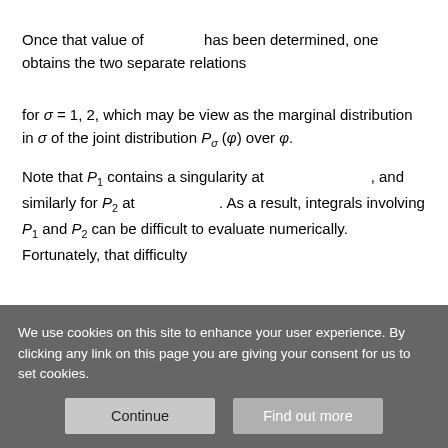Once that value of [φ] has been determined, one obtains the two separate relations
for σ = 1, 2, which may be view as the marginal distribution in σ of the joint distribution P_σ (φ) over φ.
Note that P_1 contains a singularity at [expression], and similarly for P_2 at [expression]. As a result, integrals involving P_1 and P_2 can be difficult to evaluate numerically. Fortunately, that difficulty
We use cookies on this site to enhance your user experience. By clicking any link on this page you are giving your consent for us to set cookies.